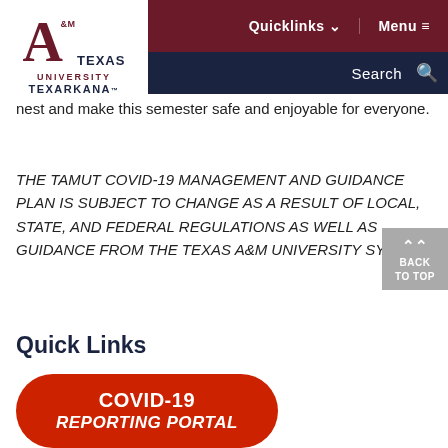Texas A&M University Texarkana — Quicklinks | Menu | Search
[Figure (logo): Texas A&M University Texarkana logo with red A and navy text]
nest and make this semester safe and enjoyable for everyone.
THE TAMUT COVID-19 MANAGEMENT AND GUIDANCE PLAN IS SUBJECT TO CHANGE AS A RESULT OF LOCAL, STATE, AND FEDERAL REGULATIONS AS WELL AS GUIDANCE FROM THE TEXAS A&M UNIVERSITY SYSTEM.
Quick Links
COVID-19 REPORTING PORTAL